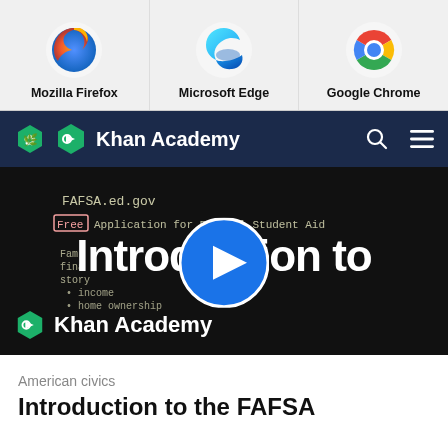[Figure (screenshot): Three browser icons in a row on light grey background: Mozilla Firefox, Microsoft Edge, Google Chrome with bold labels beneath each icon]
[Figure (screenshot): Khan Academy navigation bar with logo and site name on dark navy background, search and menu icons on the right]
[Figure (screenshot): Video thumbnail on black background showing a chalkboard with 'FAFSA.ed.gov' and 'Free Application for Federal Student Aid' text, overlaid with 'Introduction to' white bold text and a blue play button circle in the center, Khan Academy logo watermark bottom left]
American civics
Introduction to the FAFSA